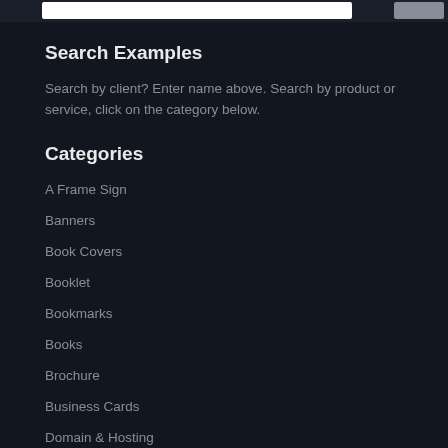Search Examples
Search by client? Enter name above. Search by product or service, click on the category below.
Categories
A Frame Sign
Banners
Book Covers
Booklet
Bookmarks
Books
Brochure
Business Cards
Domain & Hosting